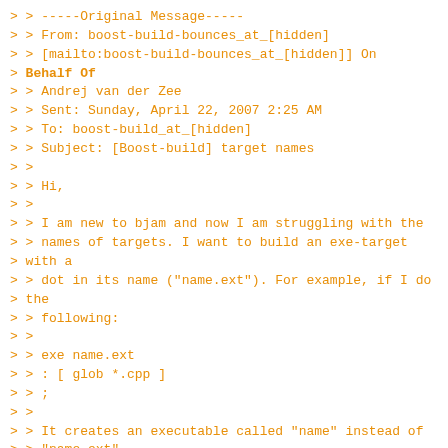> > -----Original Message-----
> > From: boost-build-bounces_at_[hidden]
> > [mailto:boost-build-bounces_at_[hidden]] On
> Behalf Of
> > Andrej van der Zee
> > Sent: Sunday, April 22, 2007 2:25 AM
> > To: boost-build_at_[hidden]
> > Subject: [Boost-build] target names
> >
> > Hi,
> >
> > I am new to bjam and now I am struggling with the
> > names of targets. I want to build an exe-target
> with a
> > dot in its name ("name.ext"). For example, if I do
> the
> > following:
> >
> > exe name.ext
> > : [ glob *.cpp ]
> > ;
> >
> > It creates an executable called "name" instead of
> > "name.ext".
> >
> > Also, I want to build an Apache module (a shared
> > library) that is called "mod_name.so". When I use
> > something like this:
> >
> > lib mod_name
> > : [ glob *.cpp ]
> > ;